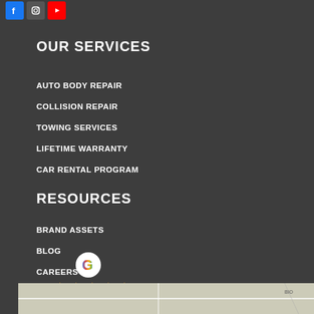[Figure (other): Social media icons: Facebook (blue), Instagram (grey), YouTube (red)]
OUR SERVICES
AUTO BODY REPAIR
COLLISION REPAIR
TOWING SERVICES
LIFETIME WARRANTY
CAR RENTAL PROGRAM
RESOURCES
BRAND ASSETS
BLOG
CAREERS
[Figure (logo): Google logo circle (G icon)]
4.9 ★★★★★ Read our 39 reviews
[Figure (map): Partial map view at bottom of page]